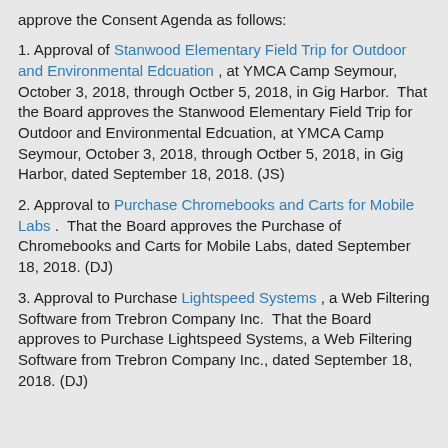approve the Consent Agenda as follows:
1. Approval of Stanwood Elementary Field Trip for Outdoor and Environmental Edcuation , at YMCA Camp Seymour, October 3, 2018, through Octber 5, 2018, in Gig Harbor.  That the Board approves the Stanwood Elementary Field Trip for Outdoor and Environmental Edcuation, at YMCA Camp Seymour, October 3, 2018, through Octber 5, 2018, in Gig Harbor, dated September 18, 2018. (JS)
2. Approval to Purchase Chromebooks and Carts for Mobile Labs .  That the Board approves the Purchase of Chromebooks and Carts for Mobile Labs, dated September 18, 2018. (DJ)
3. Approval to Purchase Lightspeed Systems , a Web Filtering Software from Trebron Company Inc.  That the Board approves to Purchase Lightspeed Systems, a Web Filtering Software from Trebron Company Inc., dated September 18, 2018. (DJ)